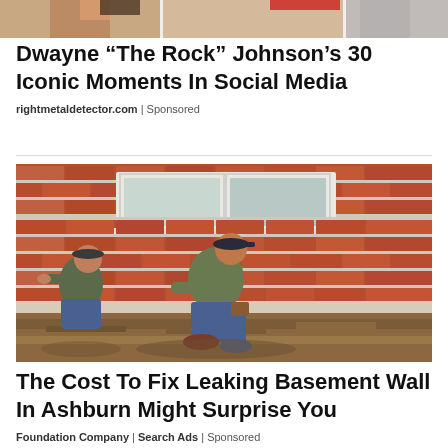[Figure (photo): Partial top banner image showing cropped photos of people, cut off at top of page]
Dwayne “The Rock” Johnson’s 30 Iconic Moments In Social Media
rightmetaldetector.com | Sponsored
[Figure (photo): Two workers kneeling and working near the base of a brick house exterior, digging in soil along the foundation wall]
The Cost To Fix Leaking Basement Wall In Ashburn Might Surprise You
Foundation Company | Search Ads | Sponsored